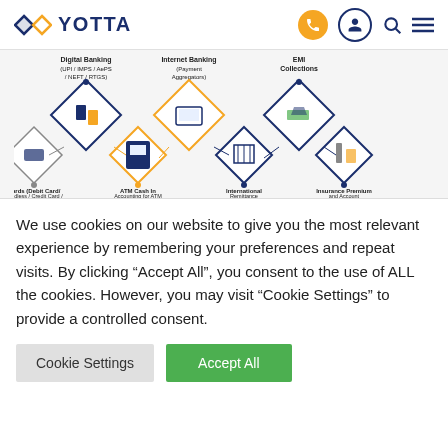Yotta navigation bar with logo, phone, account, search, and menu icons
[Figure (infographic): Yotta banking services infographic showing diamond-shaped icons for: Digital Banking (UPI / IMPS / AePS / NEFT / RTGS), Internet Banking (Payment Aggregators), EMI Collections, Cards (Debit Card / Cardless / Credit Card), ATM Cash In Accounting for ATM, International Remittance, Insurance Premium and Account]
We use cookies on our website to give you the most relevant experience by remembering your preferences and repeat visits. By clicking “Accept All”, you consent to the use of ALL the cookies. However, you may visit “Cookie Settings” to provide a controlled consent.
Cookie Settings | Accept All